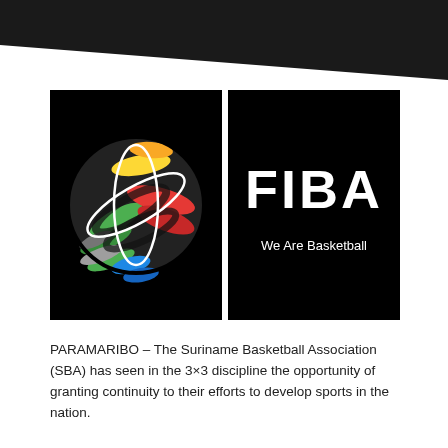[Figure (logo): Black header triangle shape at top of page]
[Figure (logo): FIBA logo: colorful basketball globe on left black square, and FIBA wordmark with 'We Are Basketball' tagline on right black square]
PARAMARIBO – The Suriname Basketball Association (SBA) has seen in the 3×3 discipline the opportunity of granting continuity to their efforts to develop sports in the nation.